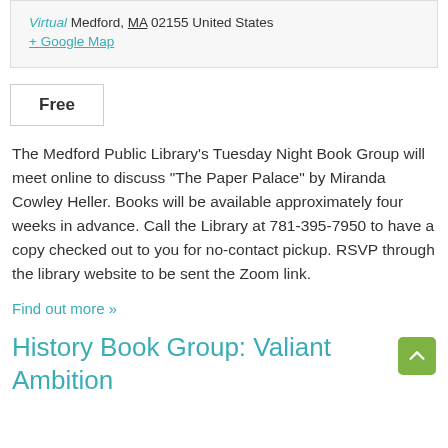Virtual Medford, MA 02155 United States
+ Google Map
Free
The Medford Public Library's Tuesday Night Book Group will meet online to discuss "The Paper Palace" by Miranda Cowley Heller. Books will be available approximately four weeks in advance. Call the Library at 781-395-7950 to have a copy checked out to you for no-contact pickup. RSVP through the library website to be sent the Zoom link.
Find out more »
History Book Group: Valiant Ambition